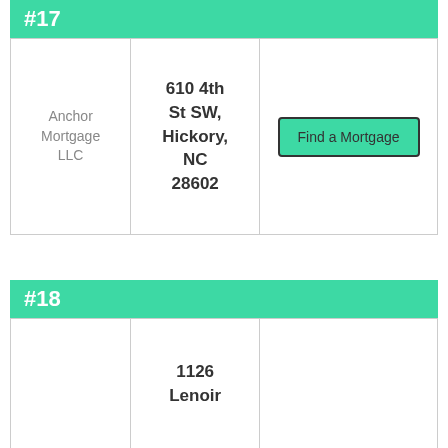#17
| Company | Address | Action |
| --- | --- | --- |
| Anchor Mortgage LLC | 610 4th St SW, Hickory, NC 28602 | Find a Mortgage |
#18
| Company | Address | Action |
| --- | --- | --- |
|  | 1126 Lenoir |  |